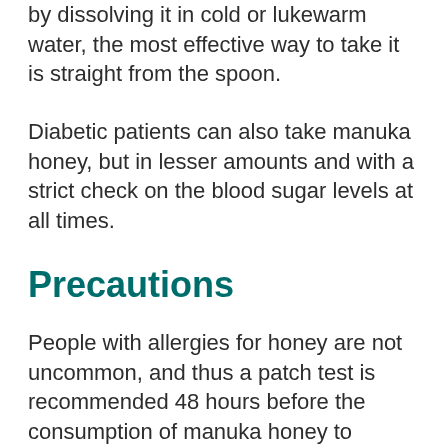by dissolving it in cold or lukewarm water, the most effective way to take it is straight from the spoon.
Diabetic patients can also take manuka honey, but in lesser amounts and with a strict check on the blood sugar levels at all times.
Precautions
People with allergies for honey are not uncommon, and thus a patch test is recommended 48 hours before the consumption of manuka honey to ensure safety.